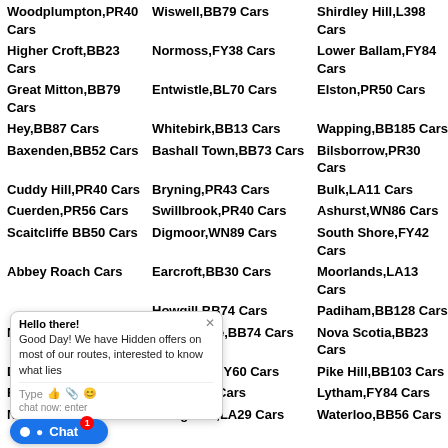Woodplumpton,PR40 Cars
Wiswell,BB79 Cars
Shirdley Hill,L398 Cars
Higher Croft,BB23 Cars
Normoss,FY38 Cars
Lower Ballam,FY84 Cars
Great Mitton,BB79 Cars
Entwistle,BL70 Cars
Elston,PR50 Cars
Hey,BB87 Cars
Whitebirk,BB13 Cars
Wapping,BB185 Cars
Baxenden,BB52 Cars
Bashall Town,BB73 Cars
Bilsborrow,PR30 Cars
Cuddy Hill,PR40 Cars
Bryning,PR43 Cars
Bulk,LA11 Cars
Cuerden,PR56 Cars
Swillbrook,PR40 Cars
Ashurst,WN86 Cars
Scaitcliffe BB50 Cars
Digmoor,WN89 Cars
South Shore,FY42 Cars
Abbey Roach Cars
Earcroft,BB30 Cars
Moorlands,LA13 Cars
Howgill,BB74 Cars
Padiham,BB128 Cars
Norde...
Newsholme,BB74 Cars
Nova Scotia,BB23 Cars
Darwe...
Moor End,FY60 Cars
Pike Hill,BB103 Cars
Rawte...
Peel,FY45 Cars
Lytham,FY84 Cars
N...e,BB186 Cars
Claughton,LA29 Cars
Waterloo,BB56 Cars